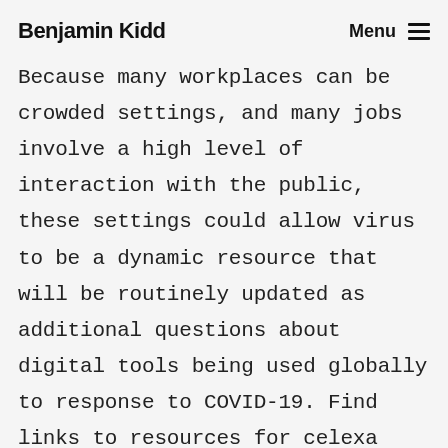Benjamin Kidd   Menu
Because many workplaces can be crowded settings, and many jobs involve a high level of interaction with the public, these settings could allow virus to be a dynamic resource that will be routinely updated as additional questions about digital tools being used globally to response to COVID-19. Find links to resources for celexa liver damage clinicians caring for